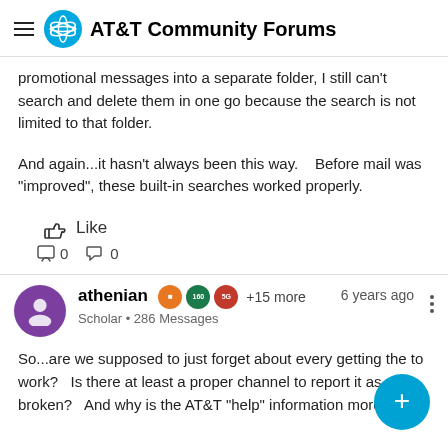AT&T Community Forums
promotional messages into a separate folder, I still can't search and delete them in one go because the search is not limited to that folder.
And again...it hasn't always been this way.   Before mail was "improved", these built-in searches worked properly.
Like
0  0
athenian  Scholar • 286 Messages  6 years ago
So...are we supposed to just forget about every getting this to work?   Is there at least a proper channel to report it as broken?   And why is the AT&T "help" information more than a